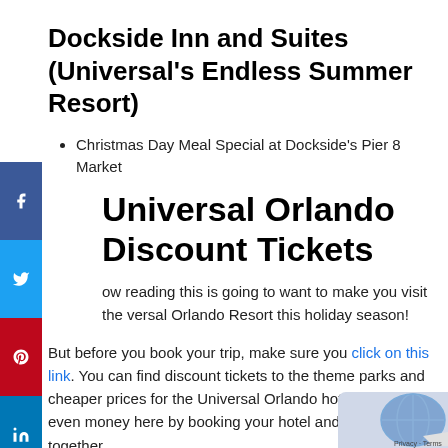Dockside Inn and Suites (Universal's Endless Summer Resort)
Christmas Day Meal Special at Dockside's Pier 8 Market
Universal Orlando Discount Tickets
...ow reading this is going to want to make you visit the ...versal Orlando Resort this holiday season!
But before you book your trip, make sure you click on this link. You can find discount tickets to the theme parks and cheaper prices for the Universal Orlando hotels.  You can even money here by booking your hotel and tickets together